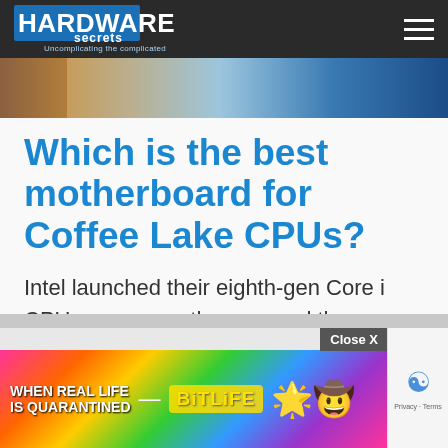Hardware Secrets – Uncomplicating the complicated
[Figure (photo): Partial view of a motherboard or electronic circuit board with colorful components]
Which is the best motherboard for Coffee Lake CPUs?
Intel launched their eighth-gen Core i CPUs some months ago, and these processors proved to be
[Figure (screenshot): Advertisement banner: BitLife game ad with rainbow background, text 'WHEN REAL LIFE IS QUARANTINED' and emoji characters. Close X button overlay. reCAPTCHA widget visible on right.]